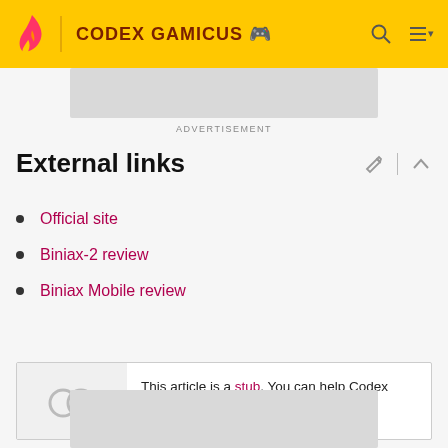CODEX GAMICUS
ADVERTISEMENT
External links
Official site
Biniax-2 review
Biniax Mobile review
This article is a stub. You can help Codex Gamicus by expanding it.